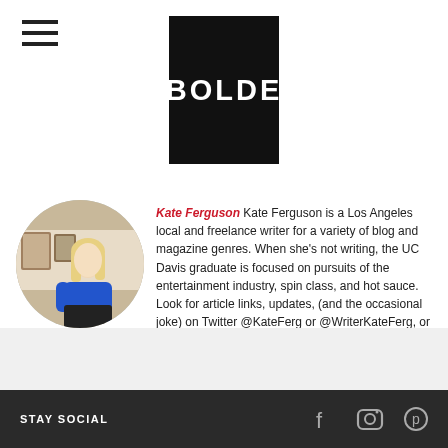[Figure (logo): BOLDE logo — white bold text on black square background]
Kate Ferguson Kate Ferguson is a Los Angeles local and freelance writer for a variety of blog and magazine genres. When she's not writing, the UC Davis graduate is focused on pursuits of the entertainment industry, spin class, and hot sauce. Look for article links, updates, (and the occasional joke) on Twitter @KateFerg or @WriterKateFerg, or check out her personal blog ThatsRandomKate.blogspot.com
STAY SOCIAL